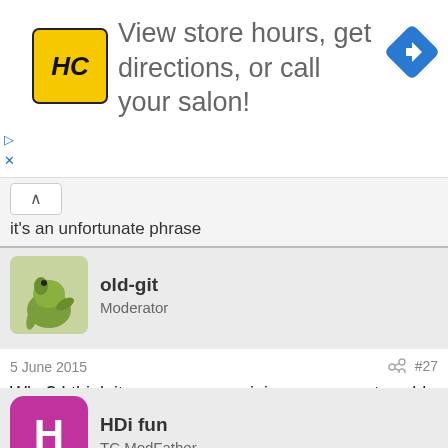[Figure (infographic): Advertisement banner: HC logo (yellow square with HC text), text 'View store hours, get directions, or call your salon!', blue diamond navigation icon on right. Play and X controls at bottom left.]
it's an unfortunate phrase
old-git
Moderator
5 June 2015	#27
Why? I think it sums up my opinion on car parts sold as performance items when they are obviously not.
HDi fun
TC ModFather
5 June 2015	#28